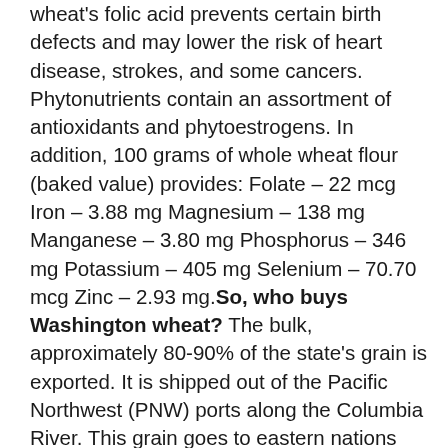wheat's folic acid prevents certain birth defects and may lower the risk of heart disease, strokes, and some cancers. Phytonutrients contain an assortment of antioxidants and phytoestrogens. In addition, 100 grams of whole wheat flour (baked value) provides: Folate – 22 mcg Iron – 3.88 mg Magnesium – 138 mg Manganese – 3.80 mg Phosphorus – 346 mg Potassium – 405 mg Selenium – 70.70 mcg Zinc – 2.93 mg. So, who buys Washington wheat? The bulk, approximately 80-90% of the state's grain is exported. It is shipped out of the Pacific Northwest (PNW) ports along the Columbia River. This grain goes to eastern nations such as Japan, Taiwan and South Korea. There is also a demand for Washington wheat throughout the rest of the world. Our biggest competitors in the world marketplace are Canada and Australia. Despite the fact the first evidence of wheat has been found in the pyramids, the production of wheat has changed